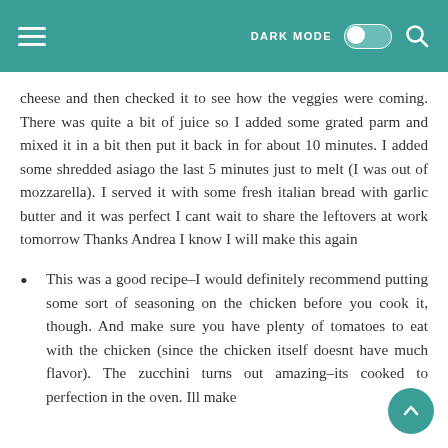DARK MODE [toggle] [search]
cheese and then checked it to see how the veggies were coming. There was quite a bit of juice so I added some grated parm and mixed it in a bit then put it back in for about 10 minutes. I added some shredded asiago the last 5 minutes just to melt (I was out of mozzarella). I served it with some fresh italian bread with garlic butter and it was perfect I cant wait to share the leftovers at work tomorrow Thanks Andrea I know I will make this again
This was a good recipe–I would definitely recommend putting some sort of seasoning on the chicken before you cook it, though. And make sure you have plenty of tomatoes to eat with the chicken (since the chicken itself doesnt have much flavor). The zucchini turns out amazing–its cooked to perfection in the oven. Ill make